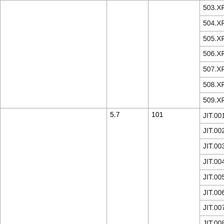|  |  |  |  |
| --- | --- | --- | --- |
|  |  |  | 503.XP... |
|  |  |  | 504.XP... |
|  |  |  | 505.XP... |
|  |  |  | 506.XP... |
|  |  |  | 507.XP... |
|  |  |  | 508.XP... |
|  |  |  | 509.XP... |
|  | 5.7 | 101 | JIT.001... |
|  |  |  | JIT.002... |
|  |  |  | JIT.003... |
|  |  |  | JIT.004... |
|  |  |  | JIT.005... |
|  |  |  | JIT.006... |
|  |  |  | JIT.007... |
|  |  |  | JIT.008... |
|  |  |  | JIT.009... |
|  |  |  | JIT.010... |
|  |  |  | VE.001... |
|  |  |  | VE.003... |